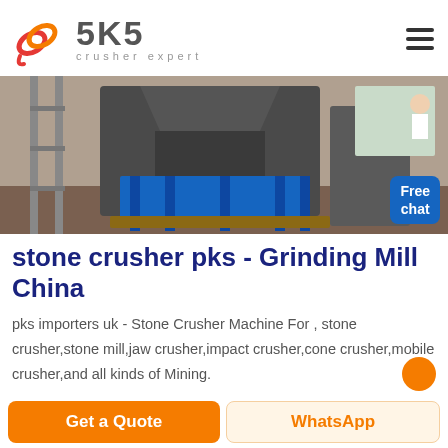[Figure (logo): SKS Crusher Expert logo with stylized red and orange interlinked circular strokes and grey SKS text with 'crusher expert' tagline]
[Figure (photo): Industrial photo of large stone crushing/grinding machine equipment in a factory setting, with blue support frame and grey metallic crusher body]
stone crusher pks - Grinding Mill China
pks importers uk - Stone Crusher Machine For , stone crusher,stone mill,jaw crusher,impact crusher,cone crusher,mobile crusher,and all kinds of Mining.